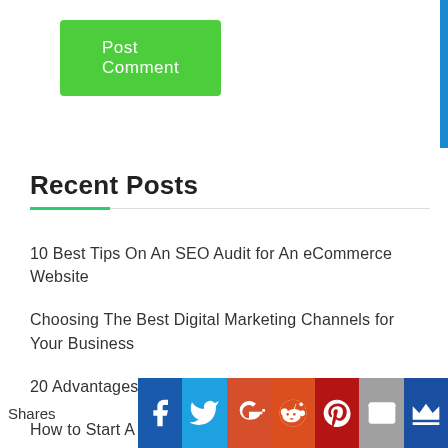[Figure (other): Green 'Post Comment' button]
Recent Posts
10 Best Tips On An SEO Audit for An eCommerce Website
Choosing The Best Digital Marketing Channels for Your Business
20 Advantages and Disadvantages of Teamwork
How to Start A Gardening Business From Home
14 Ways to Learn How to Organize Your Life
[Figure (other): Social share bar with Facebook, Twitter, Google+, Reddit, Pinterest, Email, Crown icons and 'Shares' label]